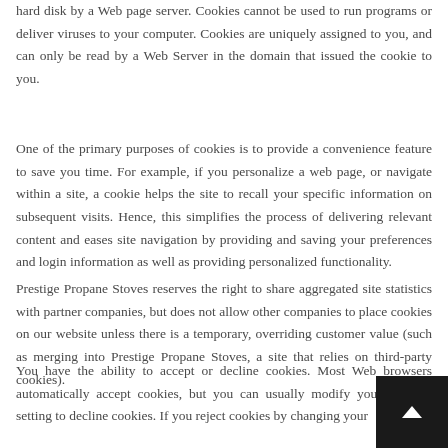hard disk by a Web page server. Cookies cannot be used to run programs or deliver viruses to your computer. Cookies are uniquely assigned to you, and can only be read by a Web Server in the domain that issued the cookie to you.
One of the primary purposes of cookies is to provide a convenience feature to save you time. For example, if you personalize a web page, or navigate within a site, a cookie helps the site to recall your specific information on subsequent visits. Hence, this simplifies the process of delivering relevant content and eases site navigation by providing and saving your preferences and login information as well as providing personalized functionality.
Prestige Propane Stoves reserves the right to share aggregated site statistics with partner companies, but does not allow other companies to place cookies on our website unless there is a temporary, overriding customer value (such as merging into Prestige Propane Stoves, a site that relies on third-party cookies).
You have the ability to accept or decline cookies. Most Web browsers automatically accept cookies, but you can usually modify your browser setting to decline cookies. If you reject cookies by changing your